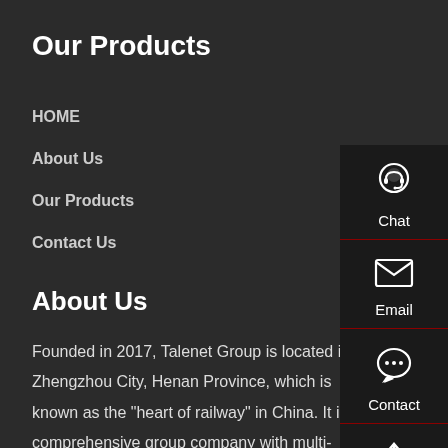Our Products
HOME
About Us
Our Products
Contact Us
About Us
Founded in 2017, Talenet Group is located in Zhengzhou City, Henan Province, which is known as the "heart of railway" in China. It is a comprehensive group company with multi-module operation integrating e-commerce operation, domestic and overseas trade, and the upstream and downstream of product supply chain.
[Figure (infographic): Sidebar with Chat, Email, Contact, and Top navigation buttons with icons on dark background]